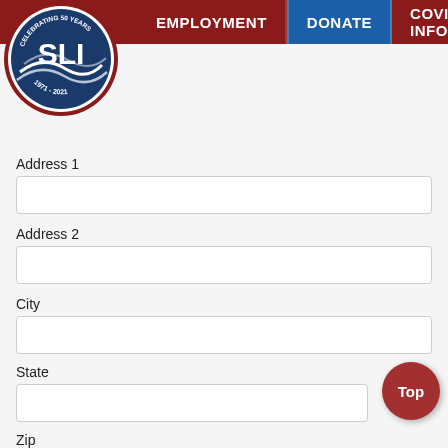[Figure (logo): SLI circular logo with blue background, celebrating 50 years 1971-2021]
Address 1
Address 2
City
State
Zip